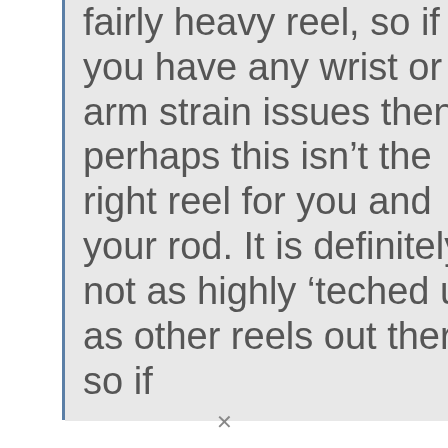fairly heavy reel, so if you have any wrist or arm strain issues then perhaps this isn't the right reel for you and your rod. It is definitely not as highly 'teched up' as other reels out there so if